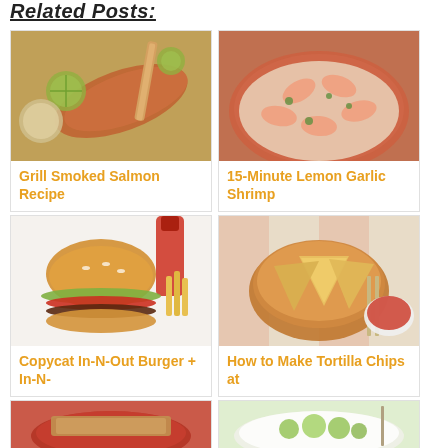Related Posts:
[Figure (photo): Grill smoked salmon fillet with lime slices on a cutting board]
Grill Smoked Salmon Recipe
[Figure (photo): Lemon garlic shrimp in an orange pan with herbs]
15-Minute Lemon Garlic Shrimp
[Figure (photo): Copycat In-N-Out burger with tomato and lettuce]
Copycat In-N-Out Burger + In-N-
[Figure (photo): Tortilla chips in a bowl with salsa dipping sauce]
How to Make Tortilla Chips at
[Figure (photo): Tomato soup with bread in bowl]
[Figure (photo): Salad with quinoa and vegetables in white bowl]